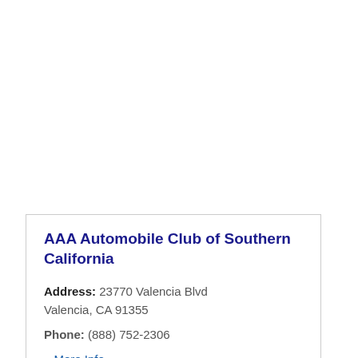AAA Automobile Club of Southern California
Address: 23770 Valencia Blvd Valencia, CA 91355
Phone: (888) 752-2306
» More Info